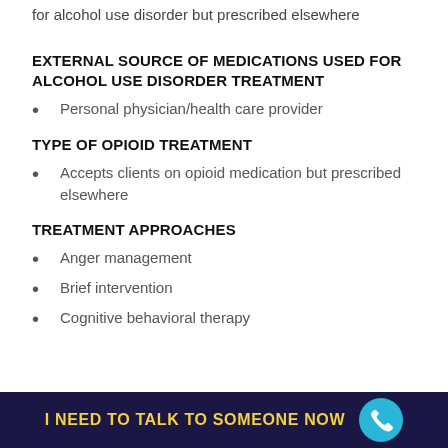for alcohol use disorder but prescribed elsewhere
EXTERNAL SOURCE OF MEDICATIONS USED FOR ALCOHOL USE DISORDER TREATMENT
Personal physician/health care provider
TYPE OF OPIOID TREATMENT
Accepts clients on opioid medication but prescribed elsewhere
TREATMENT APPROACHES
Anger management
Brief intervention
Cognitive behavioral therapy
I NEED TO TALK TO SOMEONE NOW